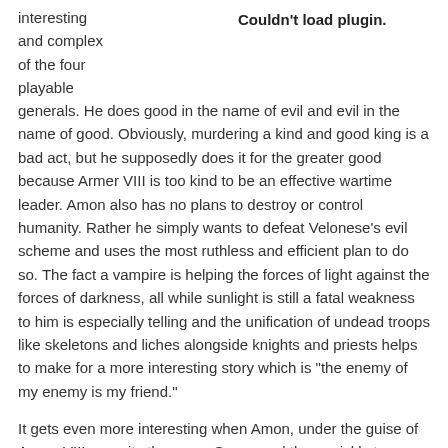interesting
and complex
of the four
playable
generals. He does good in the name of evil and evil in the name of good. Obviously, murdering a kind and good king is a bad act, but he supposedly does it for the greater good because Armer VIII is too kind to be an effective wartime leader. Amon also has no plans to destroy or control humanity. Rather he simply wants to defeat Velonese's evil scheme and uses the most ruthless and efficient plan to do so. The fact a vampire is helping the forces of light against the forces of darkness, all while sunlight is still a fatal weakness to him is especially telling and the unification of undead troops like skeletons and liches alongside knights and priests helps to make for a more interesting story which is "the enemy of my enemy is my friend."
Couldn't load plugin.
It gets even more interesting when Amon, under the guise of Armer VIII, recruits the mage Susan and then quickly turns her